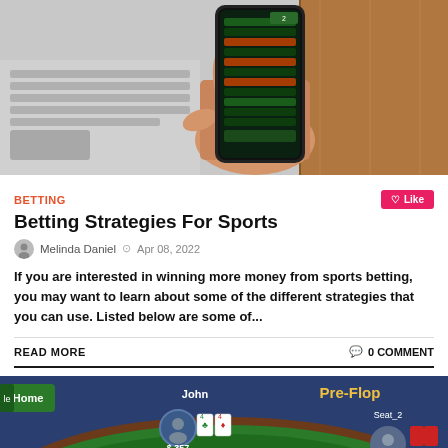[Figure (photo): A hand holding a smartphone displaying sports betting odds, with a laptop keyboard visible in the background.]
BETTING
Like
Betting Strategies For Sports
Melinda Daniel  Apr 08, 2022
If you are interested in winning more money from sports betting, you may want to learn about some of the different strategies that you can use. Listed below are some of...
READ MORE
0 COMMENT
[Figure (screenshot): A poker game app screenshot showing a poker table with player John, $357, Small Blind $1, with Pre-Flop text, Seat_2 visible, and a BB chip on the table.]